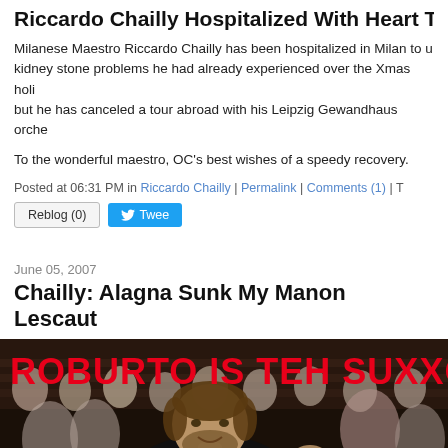Riccardo Chailly Hospitalized With Heart Trou...
Milanese Maestro Riccardo Chailly has been hospitalized in Milan to u... kidney stone problems he had already experienced over the Xmas holi... but he has canceled a tour abroad with his Leipzig Gewandhaus orche...
To the wonderful maestro, OC's best wishes of a speedy recovery.
Posted at 06:31 PM in Riccardo Chailly | Permalink | Comments (1) | T...
Reblog (0)   Tweet
June 05, 2007
Chailly: Alagna Sunk My Manon Lescaut
[Figure (photo): A conductor smiling in a concert hall with audience behind him, overlaid with red bold text reading 'ROBURTO IS TEH SUXXO']